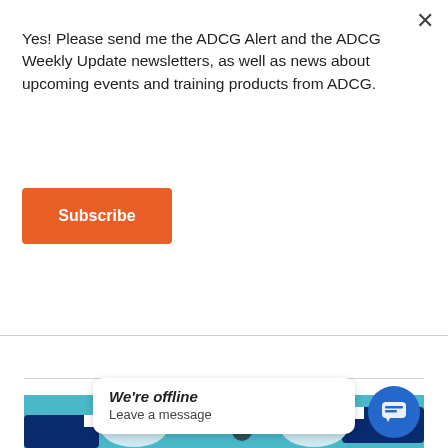Yes! Please send me the ADCG Alert and the ADCG Weekly Update newsletters, as well as news about upcoming events and training products from ADCG.
Subscribe
[Figure (illustration): Illustration of two hands in business attire exchanging a key, with a chain visible on one wrist. Blue/teal background. Overlaid with a white chat popup reading 'We're offline / Leave a message' and a blue circular chat icon in the bottom right.]